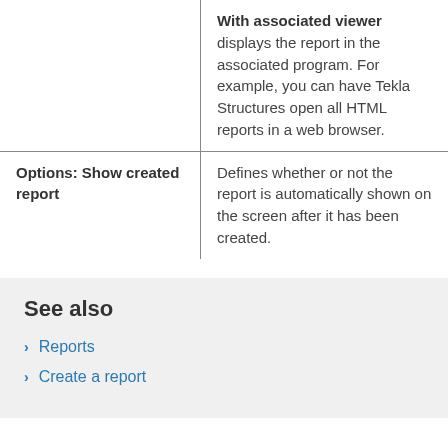|  | With associated viewer displays the report in the associated program. For example, you can have Tekla Structures open all HTML reports in a web browser. |
| Options: Show created report | Defines whether or not the report is automatically shown on the screen after it has been created. |
See also
Reports
Create a report